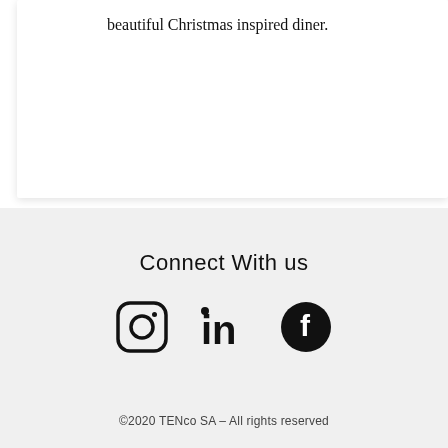beautiful Christmas inspired diner.
Connect With us
[Figure (illustration): Three social media icons: Instagram (rounded square with circle), LinkedIn (in letters), Facebook (filled circle with f)]
©2020 TENco SA – All rights reserved